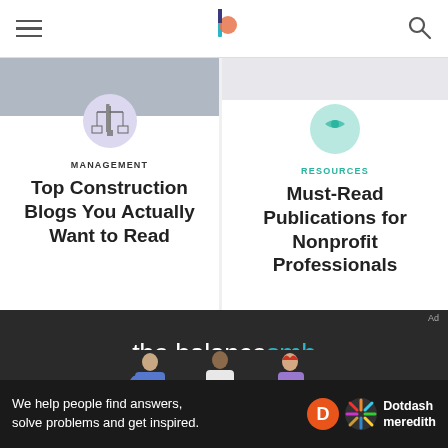thebalancesmb navigation header
[Figure (illustration): Left card: construction crane/scale icon on lavender circle background above image strip. Category: MANAGEMENT. Title: Top Construction Blogs You Actually Want to Read]
[Figure (illustration): Right card: teal circle icon. Category: RESOURCES. Title: Must-Read Publications for Nonprofit Professionals]
[Figure (logo): the balancesmb logo in white and teal on dark background]
[Figure (illustration): Three illustrated figures - person in blue jacket, person in white shirt, person in purple dress with red hair - on dark background]
We help people find answers, solve problems and get inspired.
[Figure (logo): Dotdash Meredith logo with orange D circle and colorful asterisk]